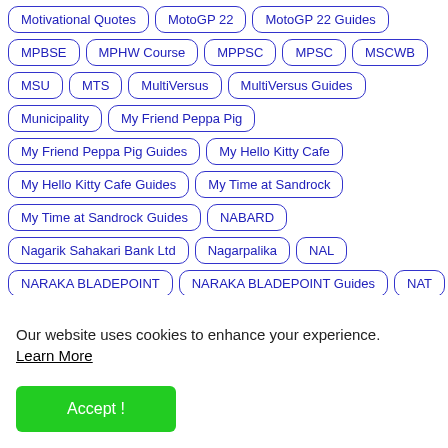Motivational Quotes
MotoGP 22
MotoGP 22 Guides
MPBSE
MPHW Course
MPPSC
MPSC
MSCWB
MSU
MTS
MultiVersus
MultiVersus Guides
Municipality
My Friend Peppa Pig
My Friend Peppa Pig Guides
My Hello Kitty Cafe
My Hello Kitty Cafe Guides
My Time at Sandrock
My Time at Sandrock Guides
NABARD
Nagarik Sahakari Bank Ltd
Nagarpalika
NAL
NARAKA BLADEPOINT
NARAKA BLADEPOINT Guides
NAT
Our website uses cookies to enhance your experience. Learn More
Accept !